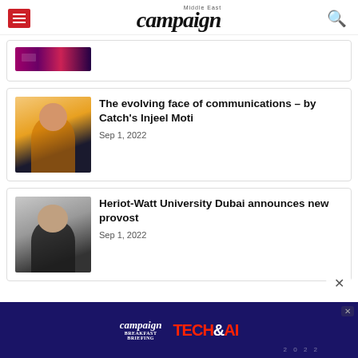campaign Middle East
[Figure (screenshot): Partial article card with decorative strip image]
The evolving face of communications – by Catch's Injeel Moti
Sep 1, 2022
Heriot-Watt University Dubai announces new provost
Sep 1, 2022
[Figure (screenshot): Campaign Tech & AI 2022 breakfast briefing advertisement banner]